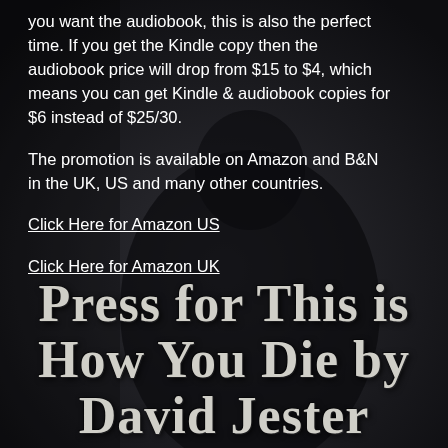you want the audiobook, this is also the perfect time. If you get the Kindle copy then the audiobook price will drop from $15 to $4, which means you can get Kindle & audiobook copies for $6 instead of $25/30.
The promotion is available on Amazon and B&N in the UK, US and many other countries.
Click Here for Amazon US
Click Here for Amazon UK
[Figure (photo): Dark background with a silhouetted/shadowed figure of a person in a suit, providing the page background.]
Press for This is How You Die by David Jester